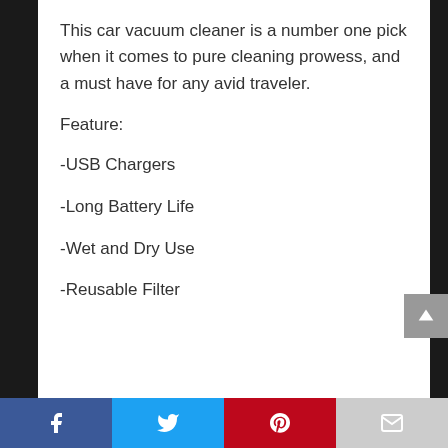This car vacuum cleaner is a number one pick when it comes to pure cleaning prowess, and a must have for any avid traveler.
Feature:
-USB Chargers
-Long Battery Life
-Wet and Dry Use
-Reusable Filter
Social share bar: Facebook, Twitter, Pinterest, Email